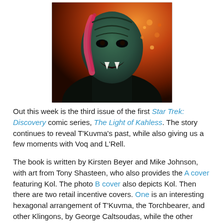[Figure (illustration): Comic book cover art showing a Klingon character with dramatic face paint/makeup featuring pink/red streaks, open mouth, dark skin tones, against a fiery orange background. Character is wearing dark armor and holding a weapon.]
Out this week is the third issue of the first Star Trek: Discovery comic series, The Light of Kahless. The story continues to reveal T'Kuvma's past, while also giving us a few moments with Voq and L'Rell.
The book is written by Kirsten Beyer and Mike Johnson, with art from Tony Shasteen, who also provides the A cover featuring Kol. The photo B cover also depicts Kol. Then there are two retail incentive covers. One is an interesting hexagonal arrangement of T'Kuvma, the Torchbearer, and other Klingons, by George Caltsoudas, while the other continues Declan Shavley, and Jordie